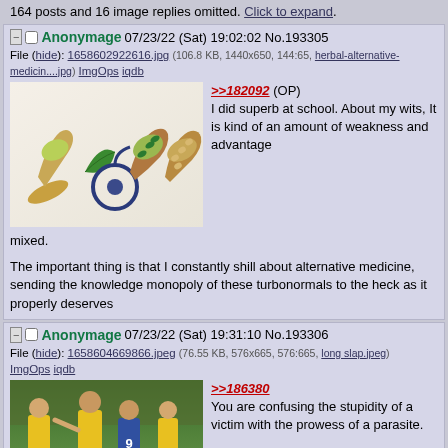164 posts and 16 image replies omitted. Click to expand.
Anonymage 07/23/22 (Sat) 19:02:02 No.193305
File (hide): 1658602922616.jpg (106.8 KB, 1440x650, 144:65, herbal-alternative-medicin....jpg) ImgOps iqdb
[Figure (photo): Wooden spoons with herbal supplements including green powder, green capsules, beige capsules, and a stethoscope on a white background]
>>182092 (OP) I did superb at school. About my wits, It is kind of an amount of weakness and advantage mixed.

The important thing is that I constantly shill about alternative medicine, sending the knowledge monopoly of these turbonormals to the heck as it properly deserves
Anonymage 07/23/22 (Sat) 19:31:10 No.193306
File (hide): 1658604669866.jpeg (76.55 KB, 576x665, 576:665, long slap.jpeg) ImgOps iqdb
[Figure (photo): Soccer players in yellow jerseys arguing or gesturing on a field, with a player in blue jersey number 9]
>>186380 You are confusing the stupidity of a victim with the prowess of a parasite.